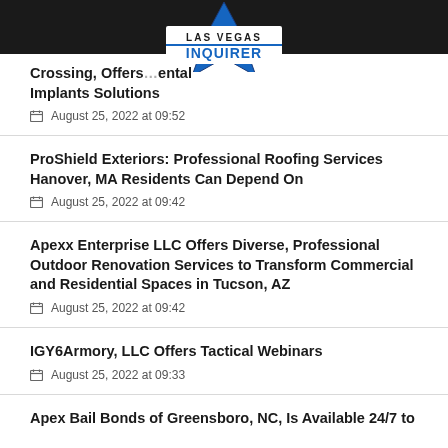Las Vegas Inquirer
Crossing, Offers … ental Implants Solutions
August 25, 2022 at 09:52
ProShield Exteriors: Professional Roofing Services Hanover, MA Residents Can Depend On
August 25, 2022 at 09:42
Apexx Enterprise LLC Offers Diverse, Professional Outdoor Renovation Services to Transform Commercial and Residential Spaces in Tucson, AZ
August 25, 2022 at 09:42
IGY6Armory, LLC Offers Tactical Webinars
August 25, 2022 at 09:33
Apex Bail Bonds of Greensboro, NC, Is Available 24/7 to